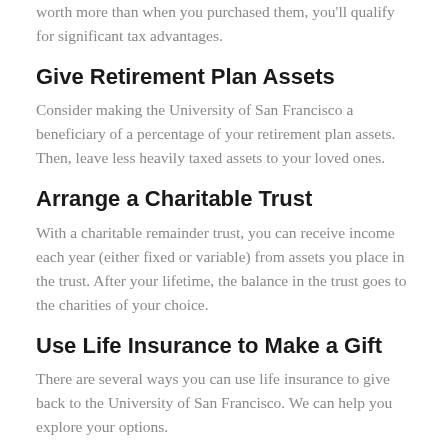worth more than when you purchased them, you'll qualify for significant tax advantages.
Give Retirement Plan Assets
Consider making the University of San Francisco a beneficiary of a percentage of your retirement plan assets. Then, leave less heavily taxed assets to your loved ones.
Arrange a Charitable Trust
With a charitable remainder trust, you can receive income each year (either fixed or variable) from assets you place in the trust. After your lifetime, the balance in the trust goes to the charities of your choice.
Use Life Insurance to Make a Gift
There are several ways you can use life insurance to give back to the University of San Francisco. We can help you explore your options.